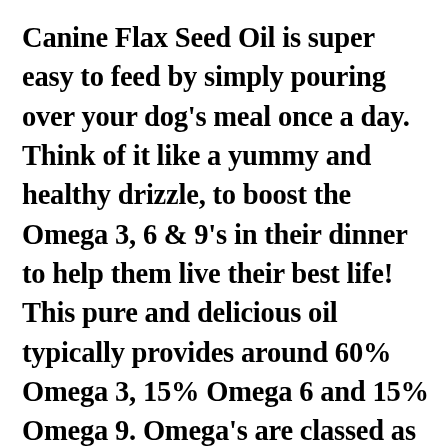Canine Flax Seed Oil is super easy to feed by simply pouring over your dog's meal once a day. Think of it like a yummy and healthy drizzle, to boost the Omega 3, 6 & 9's in their dinner to help them live their best life! This pure and delicious oil typically provides around 60% Omega 3, 15% Omega 6 and 15% Omega 9. Omega's are classed as Essential Fatty Acids which means the body can't produce them by itself, they must be obtained through the diet or supplementation. What better